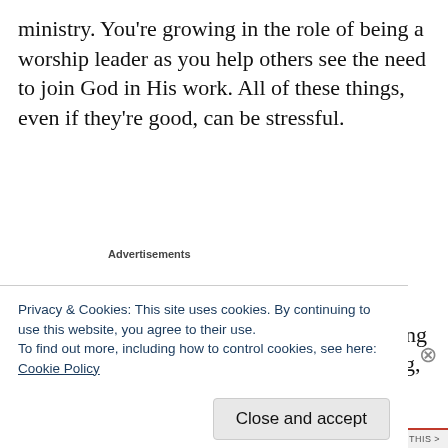ministry. You're growing in the role of being a worship leader as you help others see the need to join God in His work. All of these things, even if they're good, can be stressful.
Advertisements
If this is the case, then what does God's immutability mean for us in the ever-changing arena of raising support? More than anything, I
Privacy & Cookies: This site uses cookies. By continuing to use this website, you agree to their use.
To find out more, including how to control cookies, see here:
Cookie Policy
Close and accept